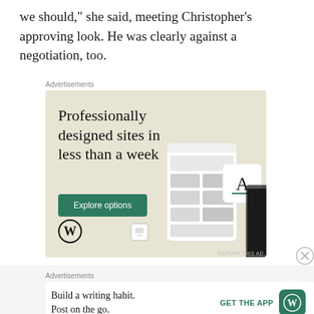we should,” she said, meeting Christopher’s approving look. He was clearly against a negotiation, too.
[Figure (infographic): WordPress advertisement banner with beige background. Headline: 'Professionally designed sites in less than a week'. Green 'Explore options' button. WordPress logo bottom left. Website mockup devices on the right side.]
[Figure (infographic): WordPress mobile app advertisement banner. Text: 'Build a writing habit. Post on the go.' with GET THE APP button and WordPress logo.]